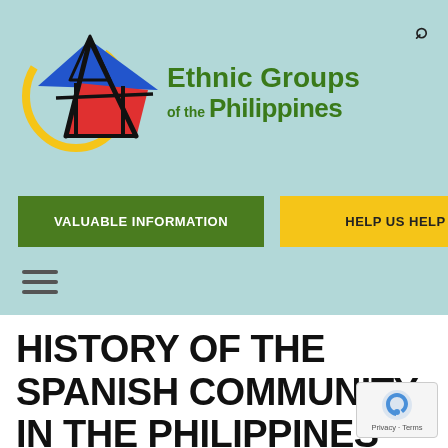[Figure (logo): Ethnic Groups of the Philippines website header logo with stylized native hut graphic and colorful design]
VALUABLE INFORMATION
HELP US HELP
HISTORY OF THE SPANISH COMMUNITY IN THE PHILIPPINES